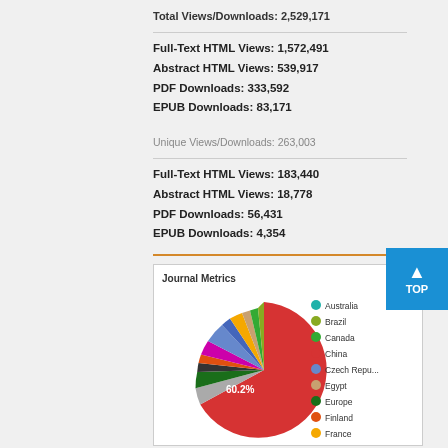Total Views/Downloads: 2,529,171
Full-Text HTML Views: 1,572,491
Abstract HTML Views: 539,917
PDF Downloads: 333,592
EPUB Downloads: 83,171
Unique Views/Downloads: 263,003
Full-Text HTML Views: 183,440
Abstract HTML Views: 18,778
PDF Downloads: 56,431
EPUB Downloads: 4,354
[Figure (pie-chart): Pie chart showing Journal Metrics by country. China dominates at 60.2%.]